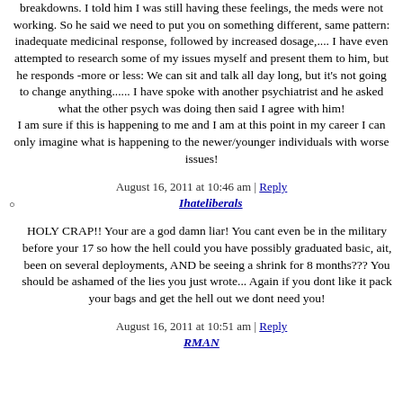breakdowns. I told him I was still having these feelings, the meds were not working. So he said we need to put you on something different, same pattern: inadequate medicinal response, followed by increased dosage,.... I have even attempted to research some of my issues myself and present them to him, but he responds -more or less: We can sit and talk all day long, but it's not going to change anything...... I have spoke with another psychiatrist and he asked what the other psych was doing then said I agree with him! I am sure if this is happening to me and I am at this point in my career I can only imagine what is happening to the newer/younger individuals with worse issues!
August 16, 2011 at 10:46 am | Reply
Ihateliberals
HOLY CRAP!! Your are a god damn liar! You cant even be in the military before your 17 so how the hell could you have possibly graduated basic, ait, been on several deployments, AND be seeing a shrink for 8 months??? You should be ashamed of the lies you just wrote... Again if you dont like it pack your bags and get the hell out we dont need you!
August 16, 2011 at 10:51 am | Reply
RMAN